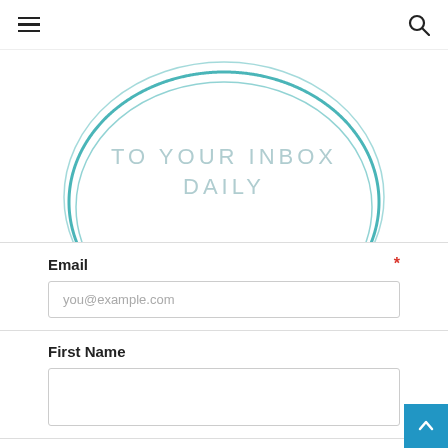Navigation header with hamburger menu and search icon
[Figure (illustration): Circular teal logo/graphic showing the text 'TO YOUR INBOX DAILY' in a ring shape with teal circular border lines]
Email *
you@example.com (placeholder)
First Name
Last Name